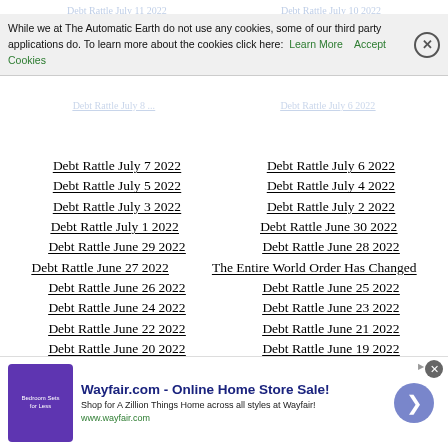While we at The Automatic Earth do not use any cookies, some of our third party applications do. To learn more about the cookies click here: Learn More   Accept Cookies
Debt Rattle July 7 2022
Debt Rattle July 6 2022
Debt Rattle July 5 2022
Debt Rattle July 4 2022
Debt Rattle July 3 2022
Debt Rattle July 2 2022
Debt Rattle July 1 2022
Debt Rattle June 30 2022
Debt Rattle June 29 2022
Debt Rattle June 28 2022
Debt Rattle June 27 2022
The Entire World Order Has Changed
Debt Rattle June 26 2022
Debt Rattle June 25 2022
Debt Rattle June 24 2022
Debt Rattle June 23 2022
Debt Rattle June 22 2022
Debt Rattle June 21 2022
Debt Rattle June 20 2022
Debt Rattle June 19 2022
Wayfair.com - Online Home Store Sale! Shop for A Zillion Things Home across all styles at Wayfair! www.wayfair.com